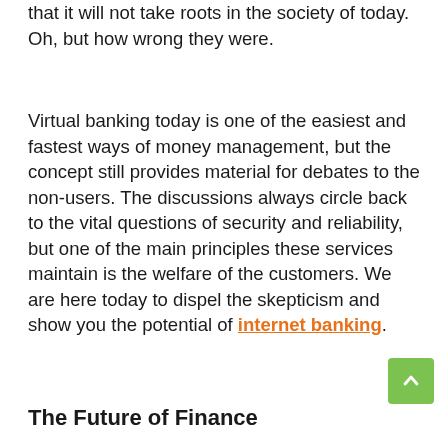that it will not take roots in the society of today. Oh, but how wrong they were.
Virtual banking today is one of the easiest and fastest ways of money management, but the concept still provides material for debates to the non-users. The discussions always circle back to the vital questions of security and reliability, but one of the main principles these services maintain is the welfare of the customers. We are here today to dispel the skepticism and show you the potential of internet banking.
The Future of Finance